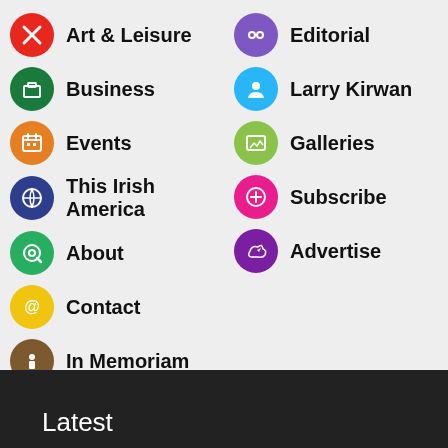Art & Leisure
Business
Events
This Irish America
About
Contact
In Memoriam
Editorial
Larry Kirwan
Galleries
Subscribe
Advertise
Latest